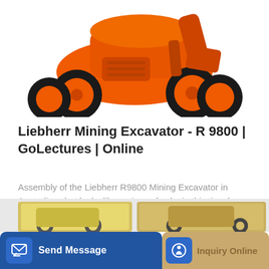[Figure (photo): Orange Liebherr R9800 Mining Excavator photographed from front-side angle, showing massive wheels and bucket arm, white background.]
Liebherr Mining Excavator - R 9800 | GoLectures | Online
Assembly of the Liebherr R9800 Mining Excavator in Australia: what looks like a piece of cake in this time lapse is a top-level organisational and logistical accomplishment. A...
Learn More
[Figure (photo): Bottom bar with two buttons: 'Send Message' (blue) and 'Inquiry Online' (tan/gold), plus partial thumbnails of yellow equipment below.]